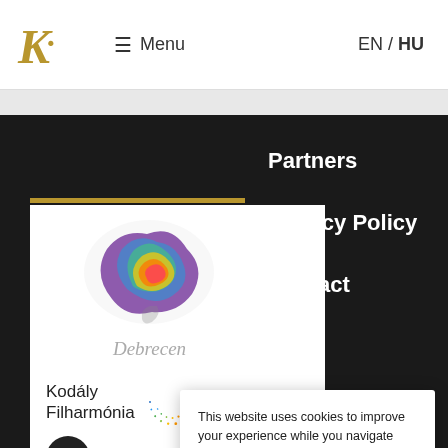K. | Menu | EN / HU
[Figure (logo): Debrecen colorful abstract logo with text 'Debrecen' in italic gray]
Partners
Privacy Policy
Contact
[Figure (logo): Kodály Filharmónia logo with circular dot pattern]
[Figure (logo): JM H logo with circular black icon]
[Figure (logo): PAPAC logo in red with pan flute icon]
This website uses cookies to improve your experience while you navigate through the website.
More information
Accept